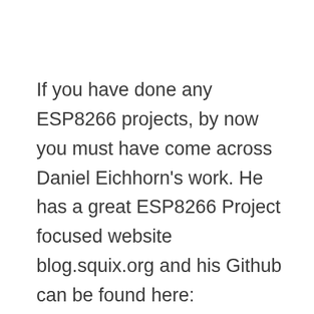If you have done any ESP8266 projects, by now you must have come across Daniel Eichhorn's work. He has a great ESP8266 Project focused website blog.squix.org and his Github can be found here: https://github.com/squix78 I have followed and made several of his projects myself, and my favorite sits on my desk right now: SQUIX ESP8266 Weather